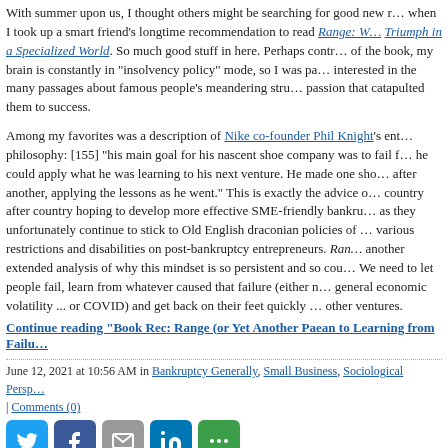With summer upon us, I thought others might be searching for good new reading when I took up a smart friend's longtime recommendation to read Range: Why Generalists Triumph in a Specialized World. So much good stuff in here. Perhaps contrary to the thrust of the book, my brain is constantly in "insolvency policy" mode, so I was particularly interested in the many passages about famous people's meandering struggles before a passion that catapulted them to success.
Among my favorites was a description of Nike co-founder Phil Knight's entry philosophy: [155] "his main goal for his nascent shoe company was to fail fast so he could apply what he was learning to his next venture. He made one shoe venture after another, applying the lessons as he went." This is exactly the advice of country after country hoping to develop more effective SME-friendly bankruptcy laws, as they unfortunately continue to stick to Old English draconian policies of imposing various restrictions and disabilities on post-bankruptcy entrepreneurs. Range includes another extended analysis of why this mindset is so persistent and so counterproductive. We need to let people fail, learn from whatever caused that failure (either managerial, general economic volatility ... or COVID) and get back on their feet quickly to pursue other ventures.
Continue reading "Book Rec: Range (or Yet Another Paean to Learning from Failure)"
June 12, 2021 at 10:56 AM in Bankruptcy Generally, Small Business, Sociological Perspectives | Comments (0)